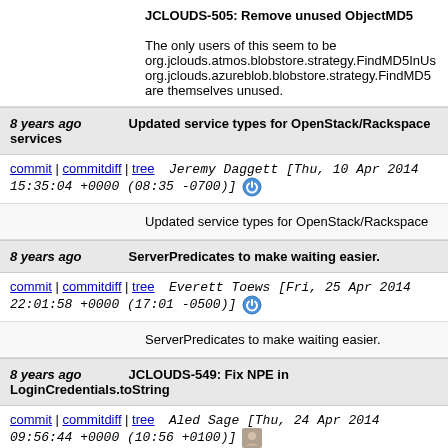JCLOUDS-505: Remove unused ObjectMD5

The only users of this seem to be org.jclouds.atmos.blobstore.strategy.FindMD5InUs... org.jclouds.azureblob.blobstore.strategy.FindMD5... are themselves unused.
8 years ago   Updated service types for OpenStack/Rackspace services
commit | commitdiff | tree   Jeremy Daggett [Thu, 10 Apr 2014 15:35:04 +0000 (08:35 -0700)]
Updated service types for OpenStack/Rackspace
8 years ago   ServerPredicates to make waiting easier.
commit | commitdiff | tree   Everett Toews [Fri, 25 Apr 2014 22:01:58 +0000 (17:01 -0500)]
ServerPredicates to make waiting easier.
8 years ago   JCLOUDS-549: Fix NPE in LoginCredentials.toString
commit | commitdiff | tree   Aled Sage [Thu, 24 Apr 2014 09:56:44 +0000 (10:56 +0100)]